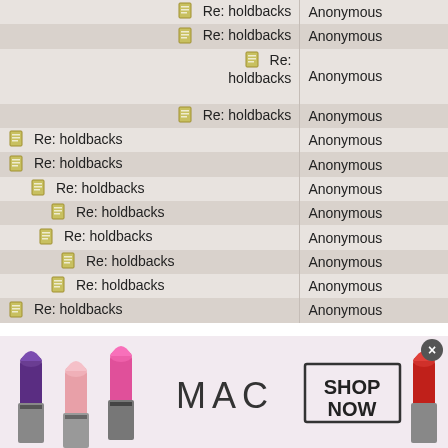| Subject | Author |
| --- | --- |
| Re: holdbacks | Anonymous |
| Re: holdbacks | Anonymous |
| Re: holdbacks | Anonymous |
| Re: holdbacks | Anonymous |
| Re: holdbacks | Anonymous |
| Re: holdbacks | Anonymous |
| Re: holdbacks | Anonymous |
| Re: holdbacks | Anonymous |
| Re: holdbacks | Anonymous |
| Re: holdbacks | Anonymous |
| Re: holdbacks | Anonymous |
| Re: holdbacks | Anonymous |
[Figure (photo): MAC cosmetics advertisement banner showing multiple lipsticks in purple, pink, and red colors with MAC logo and SHOP NOW button]